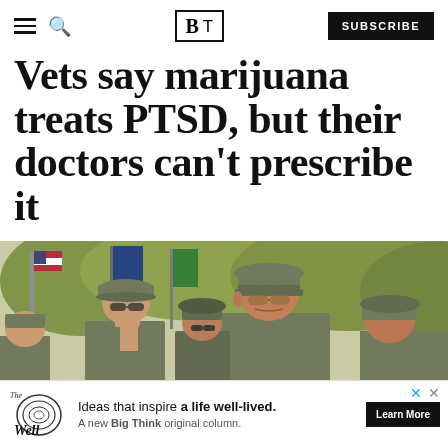BT — Big Think | SUBSCRIBE
Vets say marijuana treats PTSD, but their doctors can't prescribe it
[Figure (photo): Military veterans in camouflage uniforms and caps marching, with US and other flags visible in the background.]
Ideas that inspire a life well-lived. A new Big Think original column. Learn More